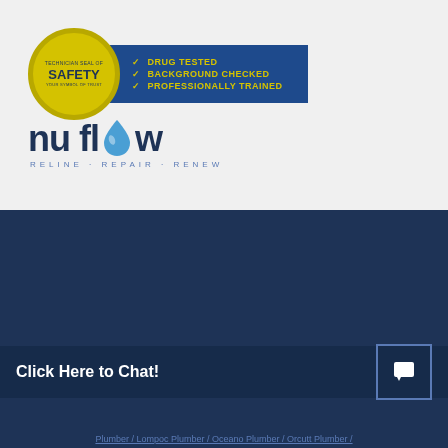[Figure (logo): Technician Seal of Safety badge - circular yellow seal with blue box listing Drug Tested, Background Checked, Professionally Trained with checkmarks]
[Figure (logo): Nu Flow logo - dark blue text with water drop replacing the O, tagline: RELINE REPAIR RENEW]
[Figure (infographic): Facebook and YouTube social media circular icon buttons on dark navy background]
HOME / REVIEWS / SERVICES / FAQ / ABOUT / EMPLOYMENT / CONTACT // COOKIE POLICY (US)
Click Here to Chat!
Plumber / Lompoc Plumber / Oceano Plumber / Orcutt Plumber /